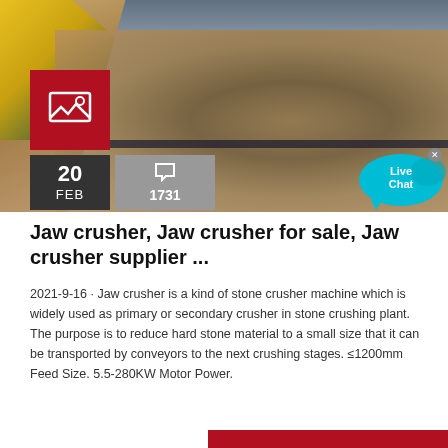[Figure (photo): Industrial jaw crusher conveyor with gravel/stone material being transported on a white conveyor belt, heavy machinery visible in upper left]
Jaw crusher, Jaw crusher for sale, Jaw crusher supplier ...
2021-9-16 · Jaw crusher is a kind of stone crusher machine which is widely used as primary or secondary crusher in stone crushing plant. The purpose is to reduce hard stone material to a small size that it can be transported by conveyors to the next crushing stages. ≤1200mm Feed Size. 5.5-280KW Motor Power.